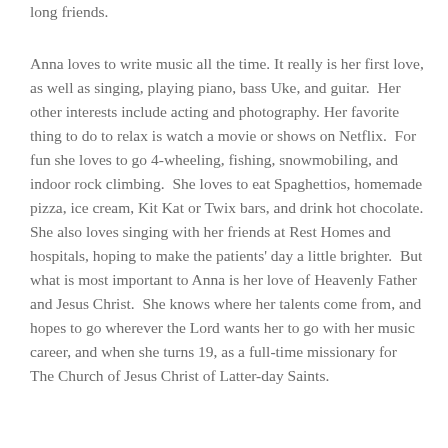long friends.
Anna loves to write music all the time. It really is her first love, as well as singing, playing piano, bass Uke, and guitar.  Her other interests include acting and photography. Her favorite thing to do to relax is watch a movie or shows on Netflix.  For fun she loves to go 4-wheeling, fishing, snowmobiling, and indoor rock climbing.  She loves to eat Spaghettios, homemade pizza, ice cream, Kit Kat or Twix bars, and drink hot chocolate. She also loves singing with her friends at Rest Homes and hospitals, hoping to make the patients' day a little brighter.  But what is most important to Anna is her love of Heavenly Father and Jesus Christ.  She knows where her talents come from, and hopes to go wherever the Lord wants her to go with her music career, and when she turns 19, as a full-time missionary for The Church of Jesus Christ of Latter-day Saints.